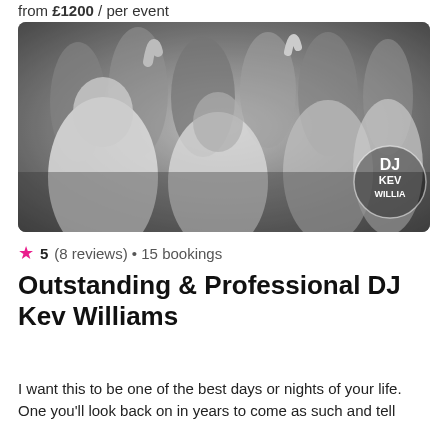from £1200 / per event
[Figure (photo): Black and white photo of a crowd of people dancing at an event, with a DJ KEV WILLIAMS watermark logo in the bottom right corner]
★ 5 (8 reviews) • 15 bookings
Outstanding & Professional DJ Kev Williams
I want this to be one of the best days or nights of your life. One you'll look back on in years to come as such and tell others "I would like to go there."